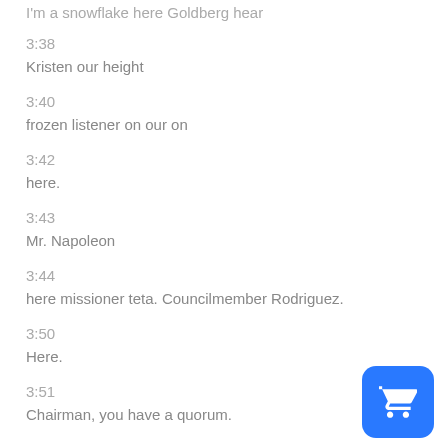I'm a snowflake here Goldberg hear
3:38
Kristen our height
3:40
frozen listener on our on
3:42
here.
3:43
Mr. Napoleon
3:44
here missioner teta. Councilmember Rodriguez.
3:50
Here.
3:51
Chairman, you have a quorum.
[Figure (illustration): Blue rounded square button with a white shopping cart icon]